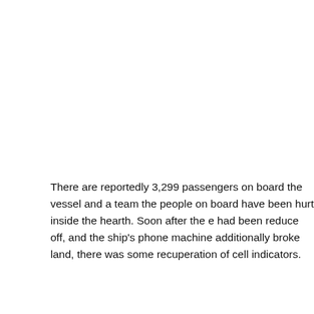There are reportedly 3,299 passengers on board the vessel and a team the people on board have been hurt inside the hearth. Soon after the e had been reduce off, and the ship's phone machine additionally broke land, there was some recuperation of cell indicators.
Moving the huge liner again to land has been an excruciatingly sluggi and the passengers and team contributors at the vessel as well as their person for some greater hours. Fortunately, the U.S. Navy has done a lots of pounds of meals and bottled water to the ship to make certain t individuals remained cozy thru [link] their ordeal.
Once the deliver is safely again in port and the passengers are reunite begin to ask questions about the fireplace that prompt this disastrous o passengers of cruise deliver team individuals appear to have been inju be their recourse? For cruise ship passenger instances, you need to b